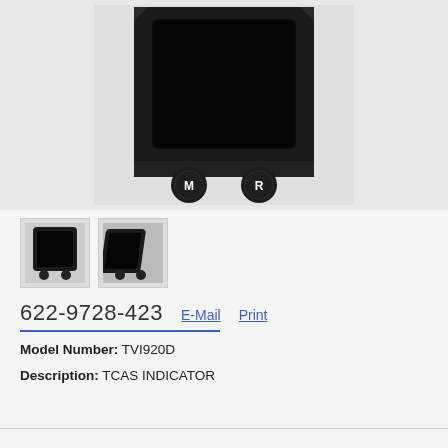[Figure (photo): Black avionics TCAS indicator device (model TVI920D) viewed from above/front, showing a rectangular black housing with rounded corners, a dark screen recess, and two circular buttons labeled M and R at the bottom.]
[Figure (photo): Two small thumbnail images of the same TCAS indicator device from different angles.]
622-9728-423
E-Mail  Print
Model Number: TVI920D
Description: TCAS INDICATOR